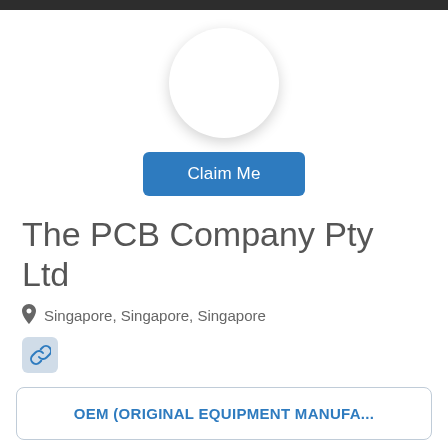[Figure (illustration): Circular profile image placeholder, white circle with drop shadow on white background]
Claim Me
The PCB Company Pty Ltd
Singapore, Singapore, Singapore
[Figure (illustration): Link icon in a rounded square box with light blue/grey background]
OEM (ORIGINAL EQUIPMENT MANUFA...
Write a Review